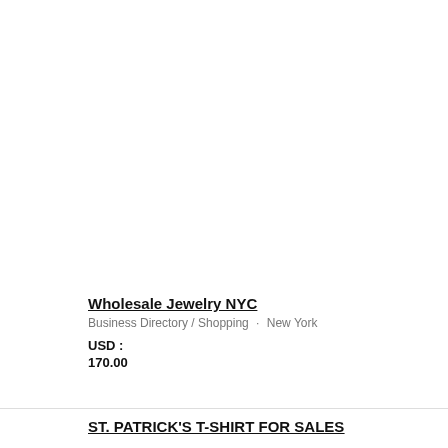Wholesale Jewelry NYC
Business Directory / Shopping · New York
USD :
170.00
ST. PATRICK'S T-SHIRT FOR SALES